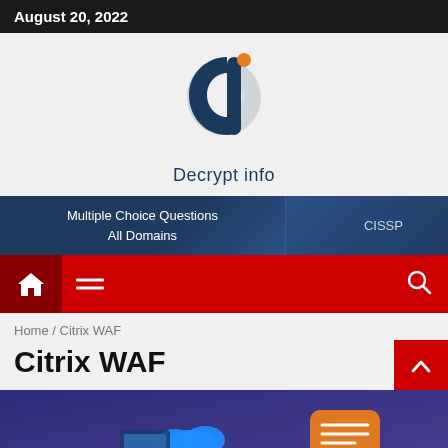August 20, 2022
[Figure (logo): Decrypt info logo — stylized 'd' letter in dark blue with orange dot, with text 'Decrypt info' below]
Multiple Choice Questions All Domains | CISSP
Home navigation bar with hamburger menu and search icon
Home / Citrix WAF
Citrix WAF
[Figure (illustration): Partial view of an article illustration showing cloud, chat bubbles, and technology icons on a blue-purple gradient background]